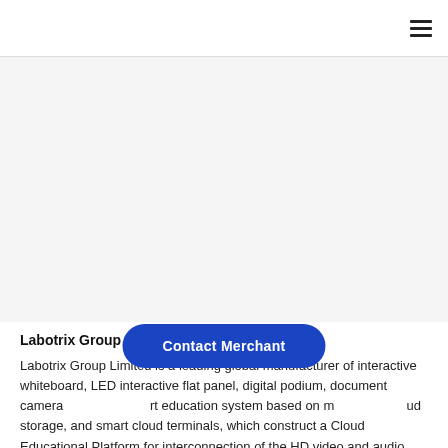≡
[Figure (other): Large blank/white image area placeholder for product or company image]
Labotrix Group Limited
Labotrix Group Limited is a leading global manufacturer of interactive whiteboard, LED interactive flat panel, digital podium, document camera and smart education system based on m... cloud storage, and smart cloud terminals, which construct a Cloud Educational Platform for interconnection of the HD video and audio content